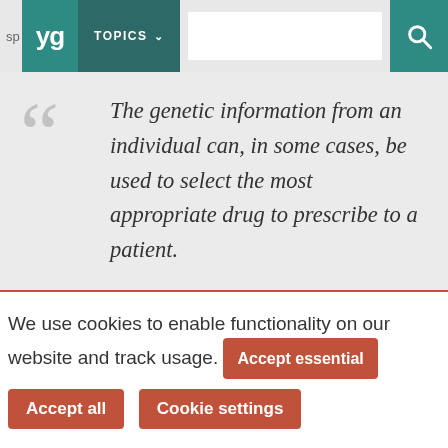sp yg TOPICS [search bar] [search icon]
The genetic information from an individual can, in some cases, be used to select the most appropriate drug to prescribe to a patient.
We use cookies to enable functionality on our website and track usage. Accept essential Accept all Cookie settings